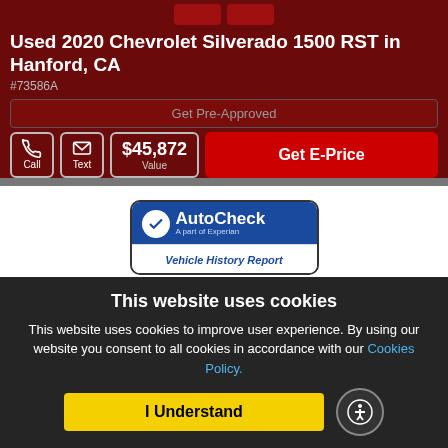Used 2020 Chevrolet Silverado 1500 RST in Hanford, CA
#73586A
Get Pre-Approved
$45,872 Value
Get E-Price
[Figure (logo): AutoCheck - A part of Experian - Vehicle History Report badge]
STOCK# 73586A
VIN 3GCUYEED7LG 264626
This website uses cookies
This website uses cookies to improve user experience. By using our website you consent to all cookies in accordance with our Cookies Policy.
I Understand